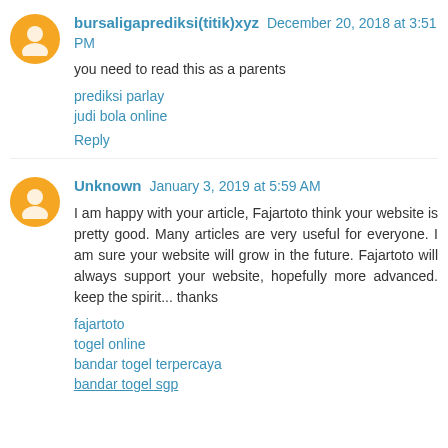bursaligaprediksi(titik)xyz December 20, 2018 at 3:51 PM
you need to read this as a parents
prediksi parlay
judi bola online
Reply
Unknown January 3, 2019 at 5:59 AM
I am happy with your article, Fajartoto think your website is pretty good. Many articles are very useful for everyone. I am sure your website will grow in the future. Fajartoto will always support your website, hopefully more advanced. keep the spirit... thanks
fajartoto
togel online
bandar togel terpercaya
bandar togel sgp